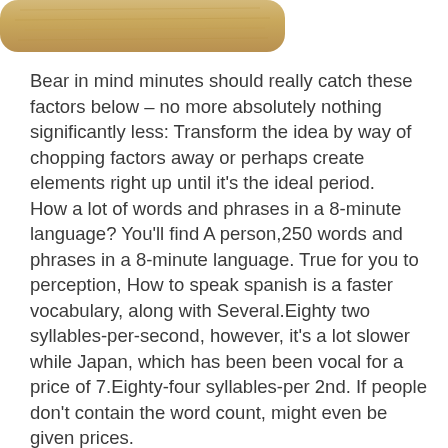[Figure (illustration): Partial view of a wooden texture graphic element at the top of the page, tan/beige colored rounded rectangle]
Bear in mind minutes should really catch these factors below – no more absolutely nothing significantly less: Transform the idea by way of chopping factors away or perhaps create elements right up until it's the ideal period.
How a lot of words and phrases in a 8-minute language? You'll find A person,250 words and phrases in a 8-minute language. True for you to perception, How to speak spanish is a faster vocabulary, along with Several.Eighty two syllables-per-second, however, it's a lot slower while Japan, which has been been vocal for a price of 7.Eighty-four syllables-per 2nd. If people don't contain the word count, might even be given prices.
Automobile disagreement came about over the interactions with...